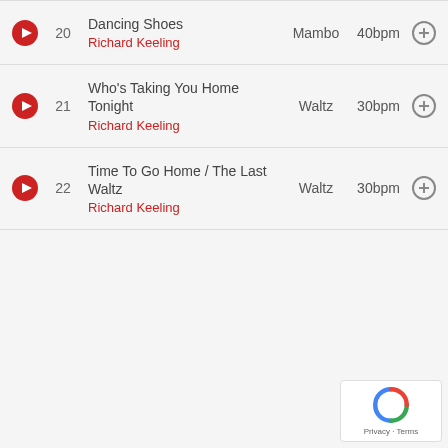20 Dancing Shoes - Richard Keeling - Mambo - 40bpm
21 Who's Taking You Home Tonight - Richard Keeling - Waltz - 30bpm
22 Time To Go Home / The Last Waltz - Richard Keeling - Waltz - 30bpm